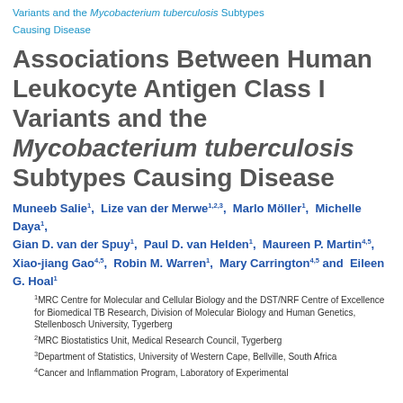Variants and the Mycobacterium tuberculosis Subtypes Causing Disease
Associations Between Human Leukocyte Antigen Class I Variants and the Mycobacterium tuberculosis Subtypes Causing Disease
Muneeb Salie1, Lize van der Merwe1,2,3, Marlo Möller1, Michelle Daya1, Gian D. van der Spuy1, Paul D. van Helden1, Maureen P. Martin4,5, Xiao-jiang Gao4,5, Robin M. Warren1, Mary Carrington4,5 and Eileen G. Hoal1
1MRC Centre for Molecular and Cellular Biology and the DST/NRF Centre of Excellence for Biomedical TB Research, Division of Molecular Biology and Human Genetics, Stellenbosch University, Tygerberg
2MRC Biostatistics Unit, Medical Research Council, Tygerberg
3Department of Statistics, University of Western Cape, Bellville, South Africa
4Cancer and Inflammation Program, Laboratory of Experimental